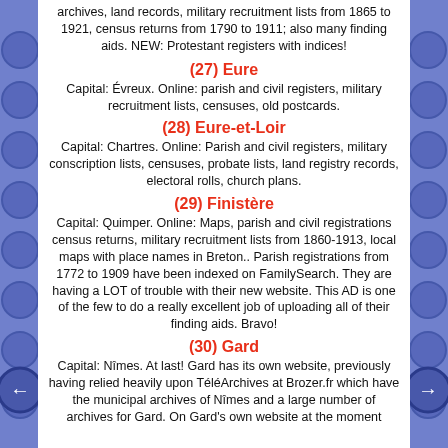archives, land records, military recruitment lists from 1865 to 1921, census returns from 1790 to 1911; also many finding aids. NEW: Protestant registers with indices!
(27) Eure
Capital: Évreux. Online: parish and civil registers, military recruitment lists, censuses, old postcards.
(28) Eure-et-Loir
Capital: Chartres. Online: Parish and civil registers, military conscription lists, censuses, probate lists, land registry records, electoral rolls, church plans.
(29) Finistère
Capital: Quimper. Online: Maps, parish and civil registrations census returns, military recruitment lists from 1860-1913, local maps with place names in Breton.. Parish registrations from 1772 to 1909 have been indexed on FamilySearch. They are having a LOT of trouble with their new website. This AD is one of the few to do a really excellent job of uploading all of their finding aids. Bravo!
(30) Gard
Capital: Nîmes. At last! Gard has its own website, previously having relied heavily upon TéléArchives at Brozer.fr which have the municipal archives of Nîmes and a large number of archives for Gard. On Gard's own website at the moment